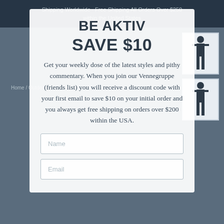Shipping Worldwide · Free Shipping All Orders Over $250 within the United States
BE AKTIV
SAVE $10
Get your weekly dose of the latest styles and pithy commentary. When you join our Vennegruppe (friends list) you will receive a discount code with your first email to save $10 on your initial order and you always get free shipping on orders over $200 within the USA.
Name
Email